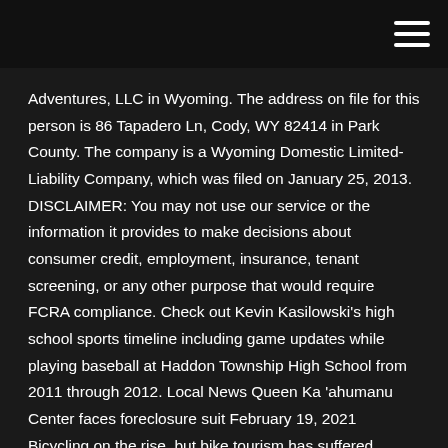Adventures, LLC in Wyoming. The address on file for this person is 86 Tapadero Ln, Cody, WY 82414 in Park County. The company is a Wyoming Domestic Limited-Liability Company, which was filed on January 25, 2013. DISCLAIMER: You may not use our service or the information it provides to make decisions about consumer credit, employment, insurance, tenant screening, or any other purpose that would require FCRA compliance. Check out Kevin Kasilowski's high school sports timeline including game updates while playing baseball at Haddon Township High School from 2011 through 2012. Local News Queen Ka'ahumanu Center faces foreclosure suit February 19, 2021 Bicycling on the rise, but bike tourism has suffered. While some local bike ...